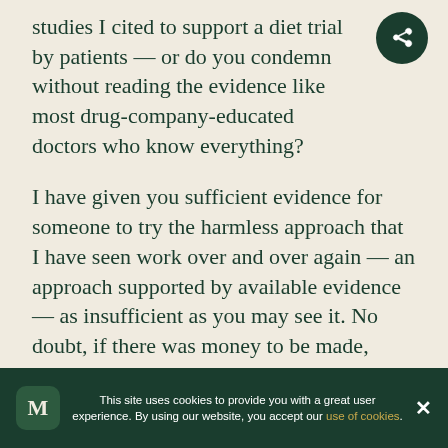studies I cited to support a diet trial by patients — or do you condemn without reading the evidence like most drug-company-educated doctors who know everything?
I have given you sufficient evidence for someone to try the harmless approach that I have seen work over and over again — an approach supported by available evidence — as insufficient as you may see it. No doubt, if there was money to be made, there would be a ton of evidence.
This site uses cookies to provide you with a great user experience. By using our website, you accept our use of cookies.